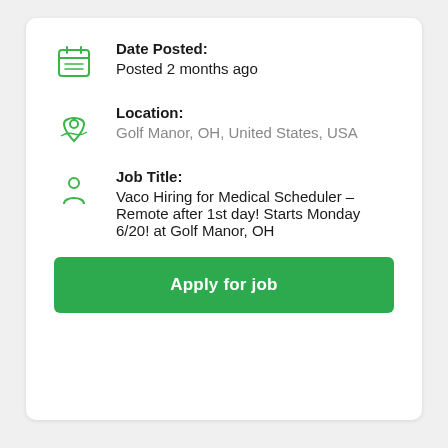Date Posted: Posted 2 months ago
Location: Golf Manor, OH, United States, USA
Job Title: Vaco Hiring for Medical Scheduler –Remote after 1st day! Starts Monday 6/20! at Golf Manor, OH
Apply for job